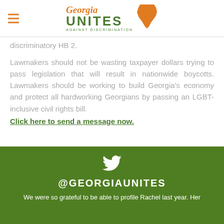Georgia UNITES AGAINST DISCRIMINATION
discriminatory HB 2.
Lawmakers should not be wasting taxpayer dollars trying to pass legislation that will result in nationwide boycotts. Lawmakers should be working to build Georgia's economy and protect all hardworking Georgians by passing an LGBT-inclusive civil rights bill. Click here to send a message now.
[Figure (logo): Twitter bird icon (white) in green banner footer]
@GEORGIAUNITES
We were so grateful to be able to profile Rachel last year. Her